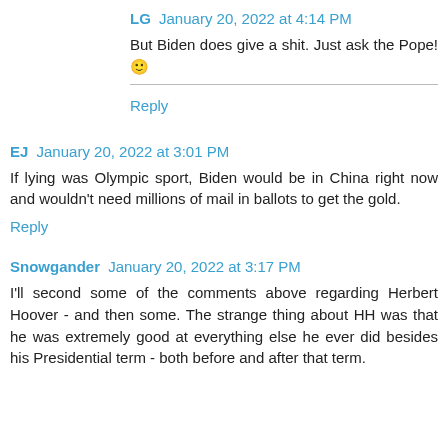LG January 20, 2022 at 4:14 PM
But Biden does give a shit. Just ask the Pope!🙂
Reply
EJ January 20, 2022 at 3:01 PM
If lying was Olympic sport, Biden would be in China right now and wouldn't need millions of mail in ballots to get the gold.
Reply
Snowgander January 20, 2022 at 3:17 PM
I'll second some of the comments above regarding Herbert Hoover - and then some. The strange thing about HH was that he was extremely good at everything else he ever did besides his Presidential term - both before and after that term.